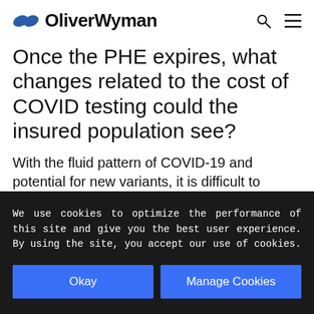OliverWyman
Once the PHE expires, what changes related to the cost of COVID testing could the insured population see?
With the fluid pattern of COVID-19 and potential for new variants, it is difficult to predict the impacts of a potential expiration of
We use cookies to optimize the performance of this site and give you the best user experience. By using the site, you accept our use of cookies.
Okay
Manage Cookies